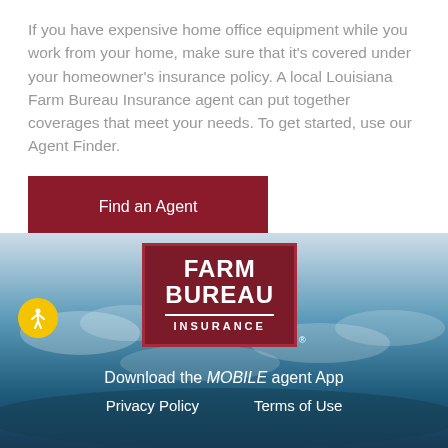If you have expensive home office equipment while you work from your home, make sure that it's covered under your homeowner's insurance policy. A local Louisiana Farm Bureau Insurance agent can put together coverages that meet your needs. To get started, use our Agent Finder.
[Figure (other): Dark red 'Find an Agent' button]
[Figure (logo): Farm Bureau Insurance logo — dark red rectangle with white text FARM BUREAU INSURANCE]
Download the MOBILE agent App
Privacy Policy     Terms of Use